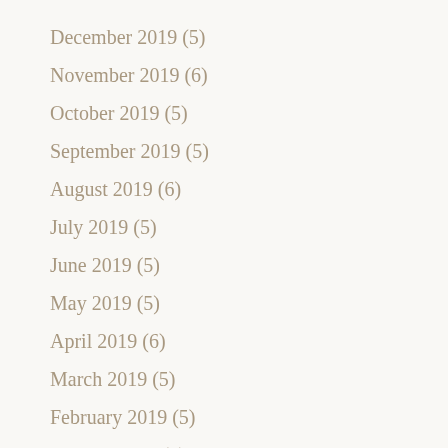December 2019 (5)
November 2019 (6)
October 2019 (5)
September 2019 (5)
August 2019 (6)
July 2019 (5)
June 2019 (5)
May 2019 (5)
April 2019 (6)
March 2019 (5)
February 2019 (5)
January 2019 (6)
December 2018 (5)